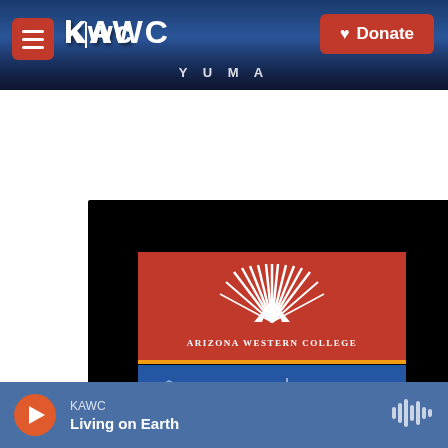KAWC | Donate
[Figure (photo): Sign at night showing Arizona Western College logo (red background with sunburst design), Northern Arizona University Yuma Branch Campus (blue background with NAU shield), and an LED marquee reading 'Support Public Radio']
KAWC
Living on Earth